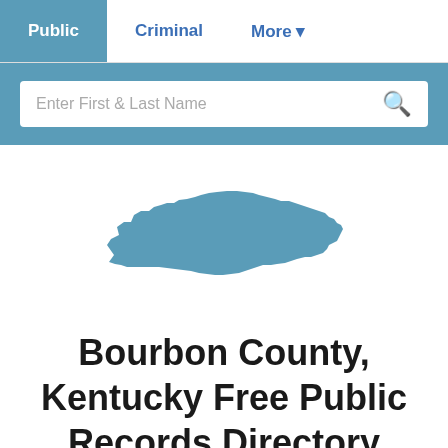Public | Criminal | More
[Figure (screenshot): Search bar with placeholder text 'Enter First & Last Name' and a search icon, on a steel-blue background]
[Figure (map): Silhouette map of the state of Kentucky in steel blue]
Bourbon County, Kentucky Free Public Records Directory
ADVERTISEMENT